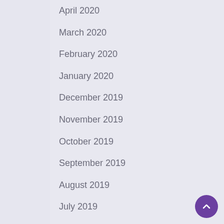April 2020
March 2020
February 2020
January 2020
December 2019
November 2019
October 2019
September 2019
August 2019
July 2019
June 2019
May 2019
April 2019
March 2019
February 2019